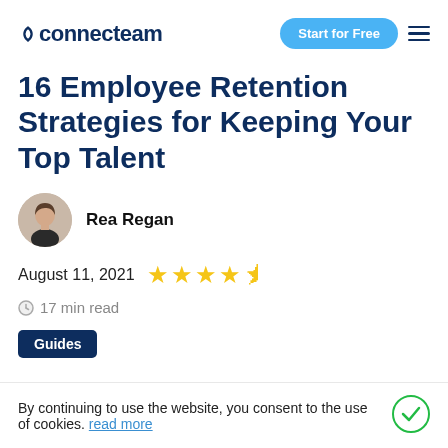connecteam — Start for Free
16 Employee Retention Strategies for Keeping Your Top Talent
Rea Regan
August 11, 2021  ★★★★½
17 min read
Guides
By continuing to use the website, you consent to the use of cookies. read more